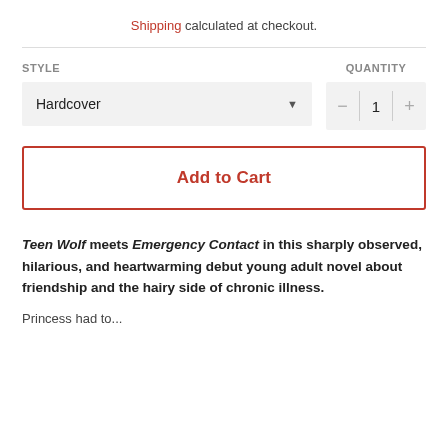Shipping calculated at checkout.
STYLE
QUANTITY
Hardcover
1
Add to Cart
Teen Wolf meets Emergency Contact in this sharply observed, hilarious, and heartwarming debut young adult novel about friendship and the hairy side of chronic illness.
Princess had to...